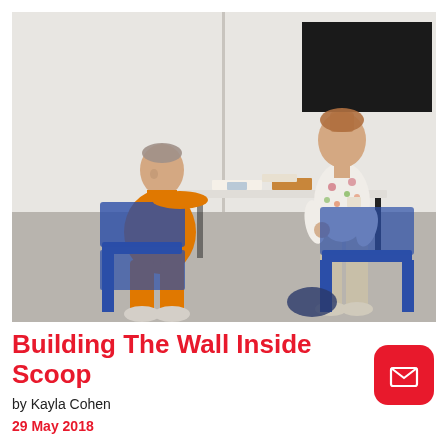[Figure (photo): Theater scene showing a man in an orange prison jumpsuit seated at a table facing a woman in a floral shirt and khaki pants standing across from him, in a sparse room with white walls and blue chairs.]
Building The Wall Inside Scoop
by Kayla Cohen
29 May 2018